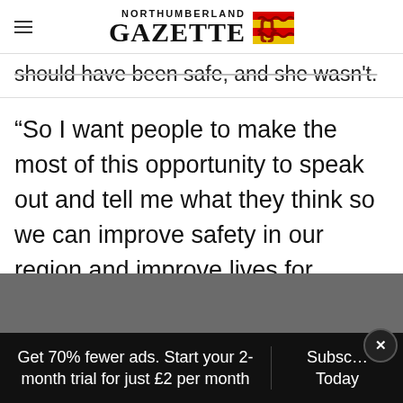NORTHUMBERLAND GAZETTE
should have been safe, and she wasn't.
“So I want people to make the most of this opportunity to speak out and tell me what they think so we can improve safety in our region and improve lives for everyone.”
Advertisement
Get 70% fewer ads. Start your 2-month trial for just £2 per month
Subscribe Today